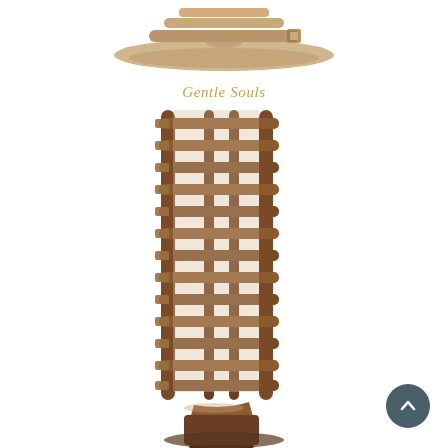[Figure (photo): Top portion of a tan/beige flat gladiator sandal viewed from above, showing straps across the toe area against white background]
Gentle Souls
[Figure (photo): Tall knee-high gladiator sandal boot by Gentle Souls in brown/tan leather with multiple horizontal strap buckles running up the leg, flat heel, photographed against white background]